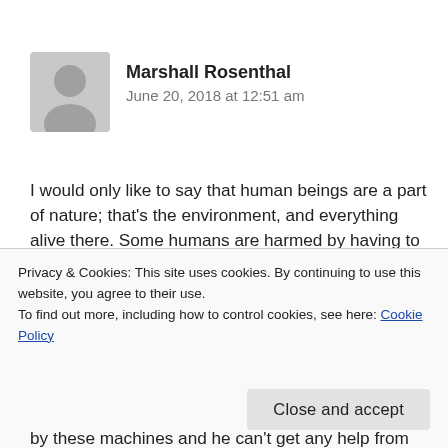[Figure (illustration): Gray avatar silhouette icon of a person]
Marshall Rosenthal
June 20, 2018 at 12:51 am
I would only like to say that human beings are a part of nature; that's the environment, and everything alive there. Some humans are harmed by having to live too close to wind turbines. Good or bad, they, the wind turbines, have no right to harm anyone, or anything. There seems to be a dirth of medical information in this conversation. As far as I am concerned, there is NO place for the safe placement of wind
Privacy & Cookies: This site uses cookies. By continuing to use this website, you agree to their use.
To find out more, including how to control cookies, see here: Cookie Policy
Close and accept
by these machines and he can't get any help from the state,